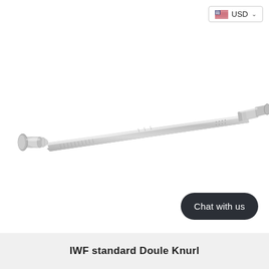USD
[Figure (photo): A chrome/silver Olympic barbell (IWF standard double knurl) photographed diagonally against a white background, showing the long bar with knurled grip sections and collar ends on both sides.]
Chat with us
IWF standard Doule Knurl